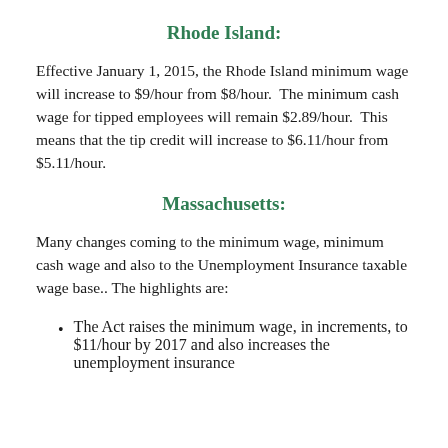Rhode Island:
Effective January 1, 2015, the Rhode Island minimum wage will increase to $9/hour from $8/hour.  The minimum cash wage for tipped employees will remain $2.89/hour.  This means that the tip credit will increase to $6.11/hour from $5.11/hour.
Massachusetts:
Many changes coming to the minimum wage, minimum cash wage and also to the Unemployment Insurance taxable wage base.. The highlights are:
The Act raises the minimum wage, in increments, to $11/hour by 2017 and also increases the unemployment insurance